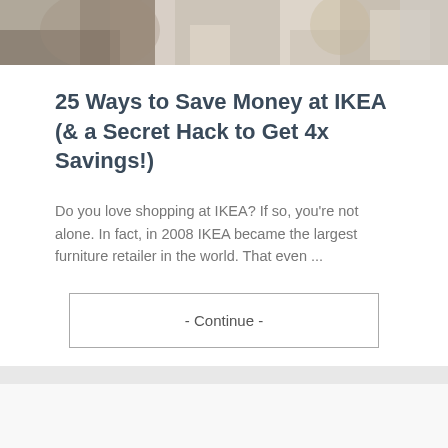[Figure (photo): Top banner photo showing people shopping at IKEA — partial view of a person in jeans and a person reaching toward shelving/storage area]
25 Ways to Save Money at IKEA (& a Secret Hack to Get 4x Savings!)
Do you love shopping at IKEA? If so, you're not alone. In fact, in 2008 IKEA became the largest furniture retailer in the world. That even ...
- Continue -